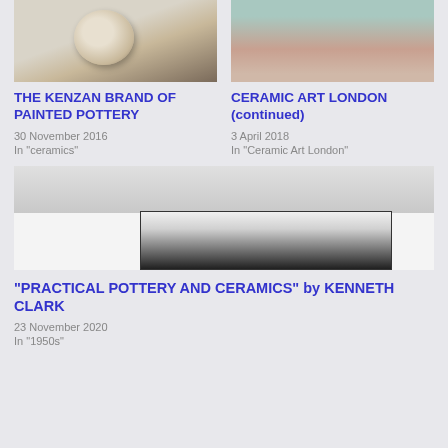[Figure (photo): Ceramic pottery bowl with dark brush strokes on light background]
THE KENZAN BRAND OF PAINTED POTTERY
30 November 2016
In "ceramics"
[Figure (photo): Ceramic art figure with pink and teal glazing]
CERAMIC ART LONDON (continued)
3 April 2018
In "Ceramic Art London"
[Figure (screenshot): Black and white screenshot of a pottery book page showing ceramic vessels]
“PRACTICAL POTTERY AND CERAMICS” by KENNETH CLARK
23 November 2020
In "1950s"